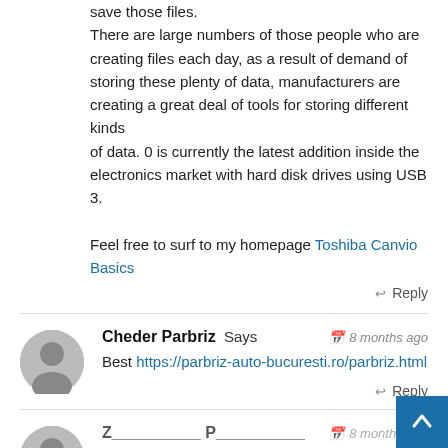save those files.
There are large numbers of those people who are creating files each day, as a result of demand of storing these plenty of data, manufacturers are creating a great deal of tools for storing different kinds
of data. 0 is currently the latest addition inside the electronics market with hard disk drives using USB 3.

Feel free to surf to my homepage Toshiba Canvio Basics
↩ Reply
Cheder Parbriz Says — 8 months ago
Best https://parbriz-auto-bucuresti.ro/parbriz.html
↩ Reply